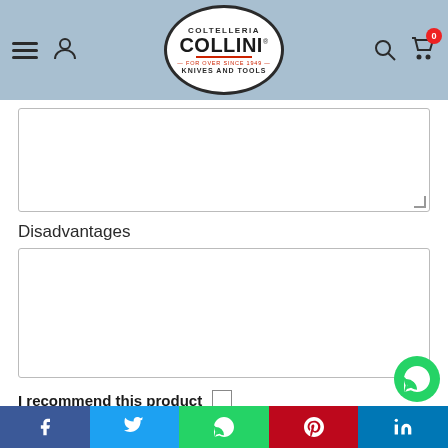Coltelleria Collini - Knives and Tools
[Textarea - Advantages field - empty]
Disadvantages
[Textarea - Disadvantages field - empty]
I recommend this product [checkbox]
This site requires the use of some technical cookies for its proper functioning. By using our services, you accept the use of these cookies. For more information
Settings | Agree